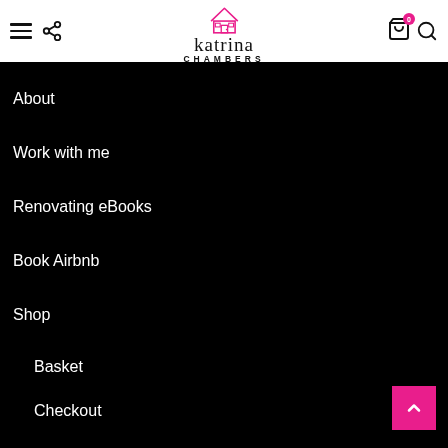Katrina Chambers — site header with hamburger menu, share icon, logo, cart (0), search
About
Work with me
Renovating eBooks
Book Airbnb
Shop
Basket
Checkout